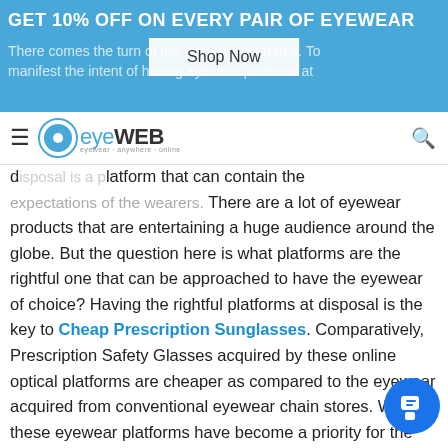GET 10% OFF ON EVERY PAIR OF EYEWEAR
There comes the turn of the eyewear platforms. To manifest the intent of having eyewear products at disposal is a platform that can contain the expectations of the wearers. There are a lot of eyewear products that are entertaining a huge audience around the globe. But the question here is what platforms are the rightful one that can be approached to have the eyewear of choice? Having the rightful platforms at disposal is the key to Cheap Prescription Sunglasses. Comparatively, Prescription Safety Glasses acquired by these online optical platforms are cheaper as compared to the eyewear acquired from conventional eyewear chain stores. Why these eyewear platforms have become a priority for the wearers across the globe? It is facilitation that matters the most. Facilitation these eyewear platforms are providing to their